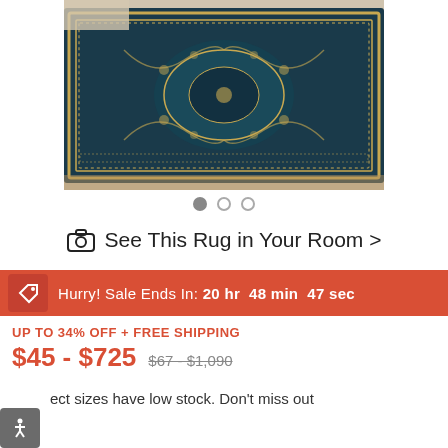[Figure (photo): A dark teal/navy blue Persian-style rug with intricate floral and geometric patterns in cream/gold tones, photographed in a room setting with wooden flooring visible]
[Figure (infographic): Carousel navigation dots: one filled gray dot and two empty/outline gray dots indicating image gallery position]
See This Rug in Your Room >
Hurry! Sale Ends In: 20 hr  48 min  47 sec
UP TO 34% OFF + FREE SHIPPING
$45 - $725  $67 - $1,090
ect sizes have low stock. Don't miss out